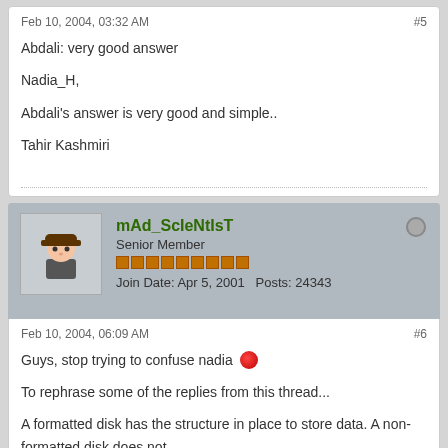Feb 10, 2004, 03:32 AM
#5
Abdali: very good answer

Nadia_H,

Abdali's answer is very good and simple..

Tahir Kashmiri
mAd_ScIeNtIsT
Senior Member
Join Date: Apr 5, 2001   Posts: 24343
Feb 10, 2004, 06:09 AM
#6
Guys, stop trying to confuse nadia
To rephrase some of the replies from this thread...
A formatted disk has the structure in place to store data. A non-formatted disk does not.